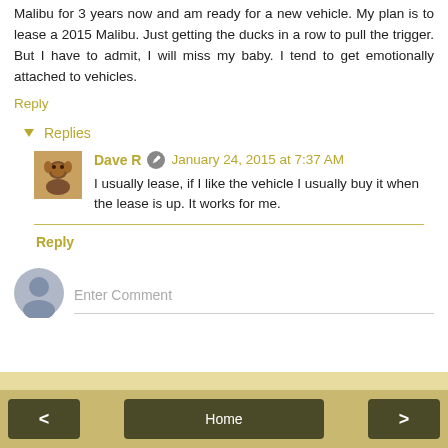Malibu for 3 years now and am ready for a new vehicle. My plan is to lease a 2015 Malibu. Just getting the ducks in a row to pull the trigger. But I have to admit, I will miss my baby. I tend to get emotionally attached to vehicles.
Reply
Replies
Dave R   January 24, 2015 at 7:37 AM
I usually lease, if I like the vehicle I usually buy it when the lease is up. It works for me.
Reply
Enter Comment
< Home >